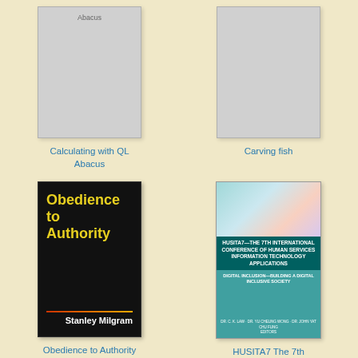[Figure (illustration): Book cover placeholder for 'Calculating with QL Abacus' - light gray placeholder with label 'Abacus' at top]
Calculating with QL Abacus
[Figure (illustration): Book cover placeholder for 'Carving fish' - light gray placeholder]
Carving fish
[Figure (illustration): Book cover for 'Obedience to Authority' by Stanley Milgram - black cover with yellow title text and author name in white]
Obedience to Authority
[Figure (illustration): Book cover for 'HUSITA7 - The 7th International Conference of Human Services Information Technology Applications' with teal background and keyboard/hands image]
HUSITA7 The 7th